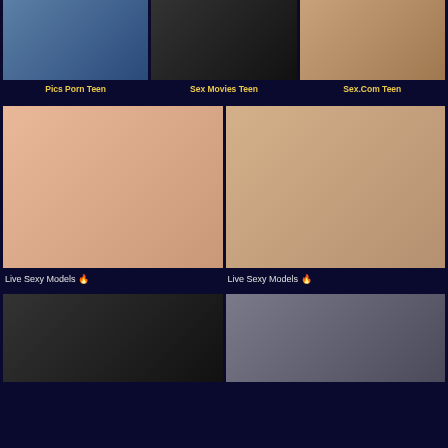[Figure (photo): Top row thumbnail 1 - person by pool]
Pics Porn Teen
[Figure (photo): Top row thumbnail 2 - person on bed]
Sex Movies Teen
[Figure (photo): Top row thumbnail 3 - person]
Sex.Com Teen
[Figure (photo): Middle left large thumbnail - person]
Live Sexy Models 🔥
[Figure (photo): Middle right large thumbnail - person with tattoos]
Live Sexy Models 🔥
[Figure (photo): Bottom left thumbnail - brunette person]
[Figure (photo): Bottom right thumbnail - smiling person]